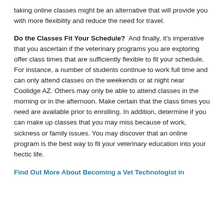taking online classes might be an alternative that will provide you with more flexibility and reduce the need for travel.
Do the Classes Fit Your Schedule?  And finally, it's imperative that you ascertain if the veterinary programs you are exploring offer class times that are sufficiently flexible to fit your schedule. For instance, a number of students continue to work full time and can only attend classes on the weekends or at night near Coolidge AZ. Others may only be able to attend classes in the morning or in the afternoon. Make certain that the class times you need are available prior to enrolling. In addition, determine if you can make up classes that you may miss because of work, sickness or family issues. You may discover that an online program is the best way to fit your veterinary education into your hectic life.
Find Out More About Becoming a Vet Technologist in